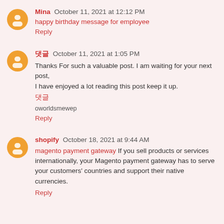Mina October 11, 2021 at 12:12 PM
happy birthday message for employee
Reply
댓글 October 11, 2021 at 1:05 PM
Thanks For such a valuable post. I am waiting for your next post, I have enjoyed a lot reading this post keep it up.
댓글
oworldsmewep
Reply
shopify October 18, 2021 at 9:44 AM
magento payment gateway If you sell products or services internationally, your Magento payment gateway has to serve your customers' countries and support their native currencies.
Reply